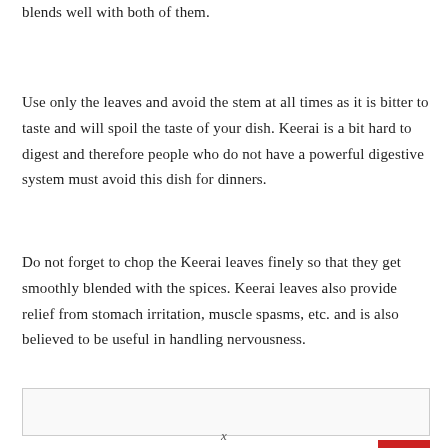blends well with both of them.
Use only the leaves and avoid the stem at all times as it is bitter to taste and will spoil the taste of your dish. Keerai is a bit hard to digest and therefore people who do not have a powerful digestive system must avoid this dish for dinners.
Do not forget to chop the Keerai leaves finely so that they get smoothly blended with the spices. Keerai leaves also provide relief from stomach irritation, muscle spasms, etc. and is also believed to be useful in handling nervousness.
[Figure (other): Empty light-grey bordered rectangle box, with a red bar element at the bottom right corner below it.]